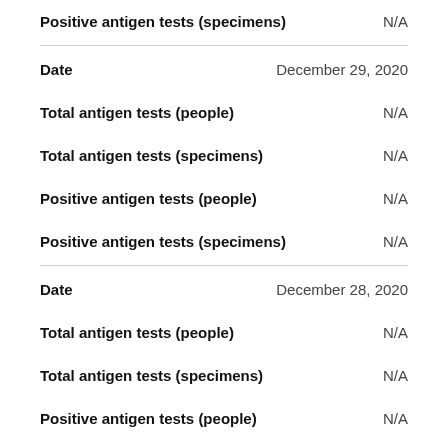Positive antigen tests (specimens) — N/A
Date — December 29, 2020
Total antigen tests (people) — N/A
Total antigen tests (specimens) — N/A
Positive antigen tests (people) — N/A
Positive antigen tests (specimens) — N/A
Date — December 28, 2020
Total antigen tests (people) — N/A
Total antigen tests (specimens) — N/A
Positive antigen tests (people) — N/A